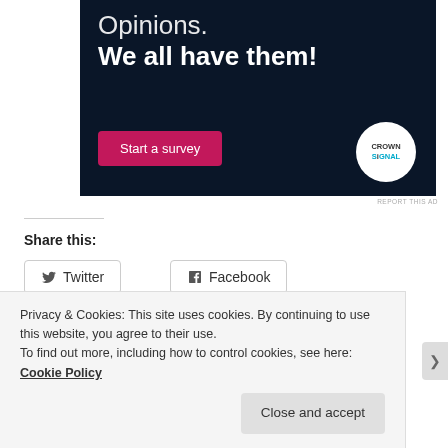[Figure (illustration): Advertisement banner with dark navy background. Text reads 'Opinions. We all have them!' with a pink 'Start a survey' button and Crown Signal logo.]
REPORT THIS AD
Share this:
Twitter
Facebook
Like
Be the first to like this.
Privacy & Cookies: This site uses cookies. By continuing to use this website, you agree to their use.
To find out more, including how to control cookies, see here: Cookie Policy
Close and accept